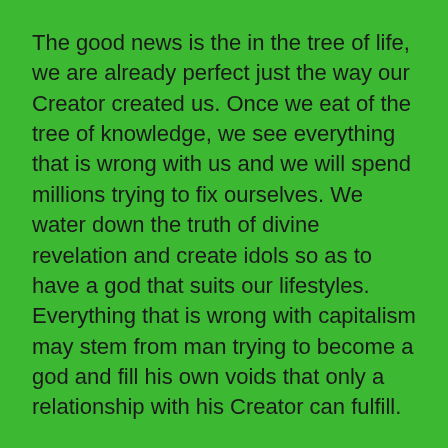The good news is the in the tree of life, we are already perfect just the way our Creator created us. Once we eat of the tree of knowledge, we see everything that is wrong with us and we will spend millions trying to fix ourselves. We water down the truth of divine revelation and create idols so as to have a god that suits our lifestyles. Everything that is wrong with capitalism may stem from man trying to become a god and fill his own voids that only a relationship with his Creator can fulfill.
When we cease striving and come to know the God of the Bible as the King of kings and Lord of lords, everything that we long for in the future suddenly becomes manifest in the Present. Looking for a future Kingdom is still looking for all of these things outside of ourselves.